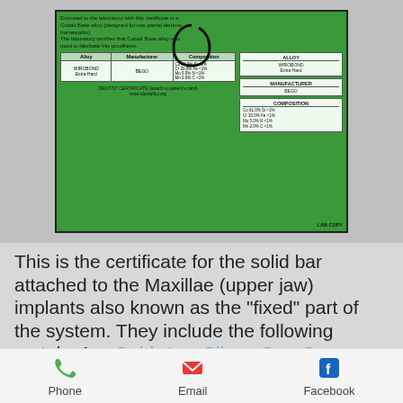[Figure (photo): A green dental alloy certificate card showing WIROBOND Extra Hard alloy by BEGO manufacturer, with composition details: Co 61.0%, Si <1%, Cr 30.0%, Fe <1%, Mo 5.0%, N <1%, Mn 2.0%, C <1%. The certificate includes a dentist certificate section and LAB COPY label. A metal clip/wire is visible over the card.]
This is the certificate for the solid bar attached to the Maxillae (upper jaw) implants also known as the "fixed" part of the system. They include the following metals: Au- Gold, Ag - Silver, Cu - Copper and Pd - Palladium.
High noble alloys (Precious
Phone   Email   Facebook